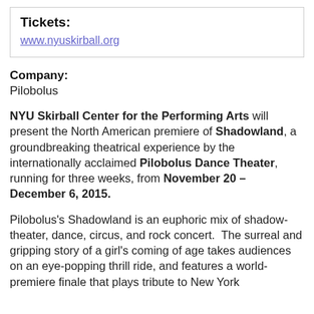Tickets:
www.nyuskirball.org
Company:
Pilobolus
NYU Skirball Center for the Performing Arts will present the North American premiere of Shadowland, a groundbreaking theatrical experience by the internationally acclaimed Pilobolus Dance Theater, running for three weeks, from November 20 – December 6, 2015.
Pilobolus's Shadowland is an euphoric mix of shadow-theater, dance, circus, and rock concert.  The surreal and gripping story of a girl's coming of age takes audiences on an eye-popping thrill ride, and features a world-premiere finale that plays tribute to New York